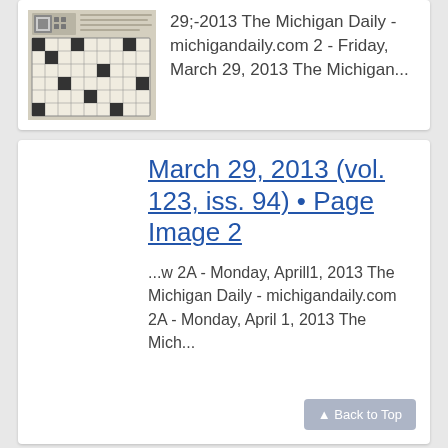[Figure (screenshot): Thumbnail image of a newspaper page (crossword puzzle visible), grayscale]
29;-2013 The Michigan Daily - michigandaily.com 2 - Friday, March 29, 2013 The Michigan...
March 29, 2013 (vol. 123, iss. 94) • Page Image 2
...w 2A - Monday, Aprill1, 2013 The Michigan Daily - michigandaily.com 2A - Monday, April 1, 2013 The Mich...